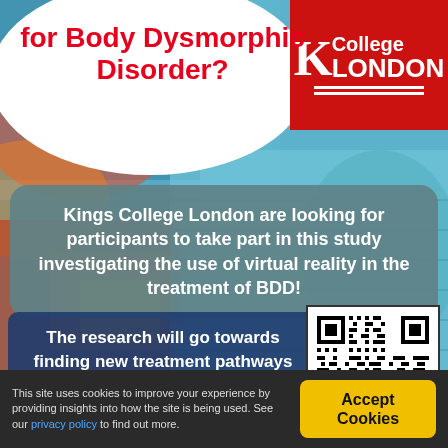[Figure (infographic): Colorful abstract painted background (blues, reds, yellows) with a white oval containing red bold text 'for Body Dysmorphic Disorder?' in the top-left, a King's College London logo in red box top-right, a teal rounded-rectangle box with white text about the study, a dark blue box with white text about research outcomes, and a QR code on the lower right.]
for Body Dysmorphic Disorder?
Kings College London are looking for participants to take part in this study investigating the use of virtual reality in the treatment of BDD!
The research will go towards finding new treatment pathways and improving existing treatments.
This site uses cookies to improve your experience by providing insights into how the site is being used. See our privacy policy to find out more.
Accept Cookies